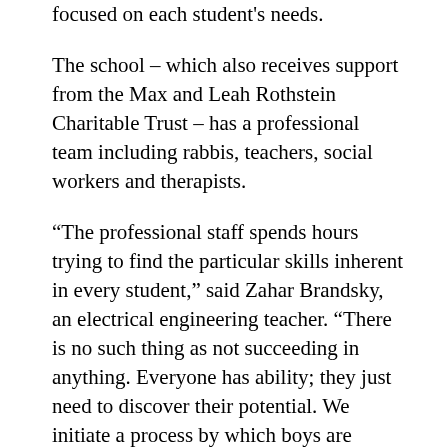focused on each student's needs.
The school – which also receives support from the Max and Leah Rothstein Charitable Trust – has a professional team including rabbis, teachers, social workers and therapists.
“The professional staff spends hours trying to find the particular skills inherent in every student,” said Zahar Brandsky, an electrical engineering teacher. “There is no such thing as not succeeding in anything. Everyone has ability; they just need to discover their potential. We initiate a process by which boys are successful at first in small things, and then they find that they can succeed in bigger things.”
After graduating, many students receive licenses as